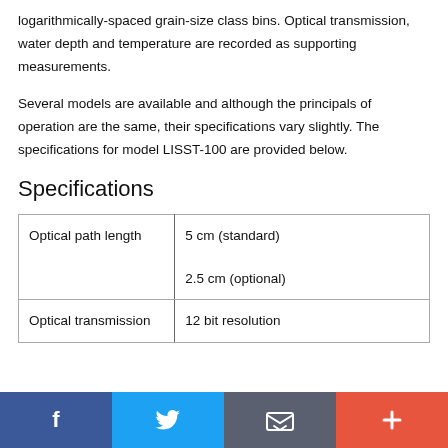logarithmically-spaced grain-size class bins. Optical transmission, water depth and temperature are recorded as supporting measurements.
Several models are available and although the principals of operation are the same, their specifications vary slightly. The specifications for model LISST-100 are provided below.
Specifications
| Optical path length | 5 cm (standard)

2.5 cm (optional) |
| Optical transmission | 12 bit resolution |
f | Twitter bird | email | +